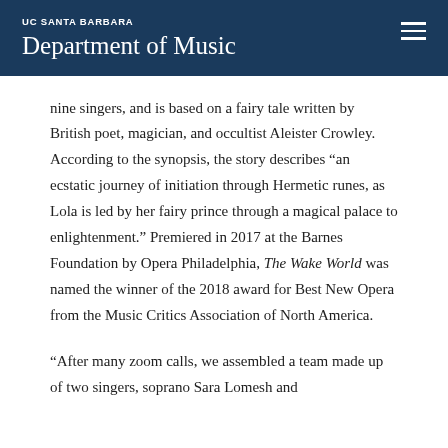UC SANTA BARBARA Department of Music
nine singers, and is based on a fairy tale written by British poet, magician, and occultist Aleister Crowley. According to the synopsis, the story describes “an ecstatic journey of initiation through Hermetic runes, as Lola is led by her fairy prince through a magical palace to enlightenment.” Premiered in 2017 at the Barnes Foundation by Opera Philadelphia, The Wake World was named the winner of the 2018 award for Best New Opera from the Music Critics Association of North America.
“After many zoom calls, we assembled a team made up of two singers, soprano Sara Lomesh and